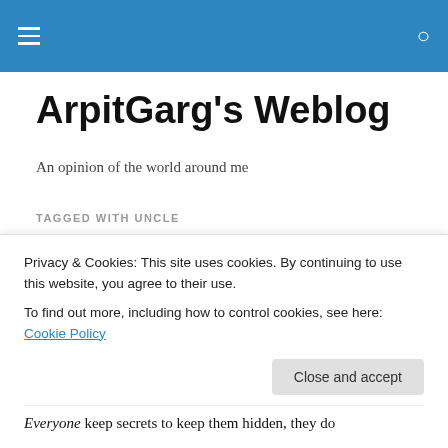ArpitGarg's Weblog — navigation bar with hamburger menu and search icon
ArpitGarg's Weblog
An opinion of the world around me
TAGGED WITH UNCLE
Secret Talks
Personal Secret is described as something that is
Privacy & Cookies: This site uses cookies. By continuing to use this website, you agree to their use.
To find out more, including how to control cookies, see here: Cookie Policy
Close and accept
Everyone keep secrets to keep them hidden, they do